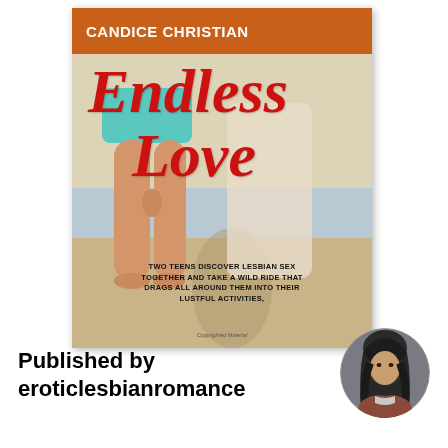[Figure (illustration): Book cover for 'Endless Love' by Candice Christian. Orange/brown top bar with author name in white. Large red italic title text 'Endless Love'. Background shows legs of two people on a beach. Blurb text at bottom: 'Two teens discover lesbian sex together and take a wild ride that drags all around them into their lustful activities.' Copyright watermark at bottom.]
Published by eroticlesbianromance
[Figure (illustration): Circular avatar portrait of a dark-haired woman illustration/drawing, shown from shoulders up, with gray/dark tones.]